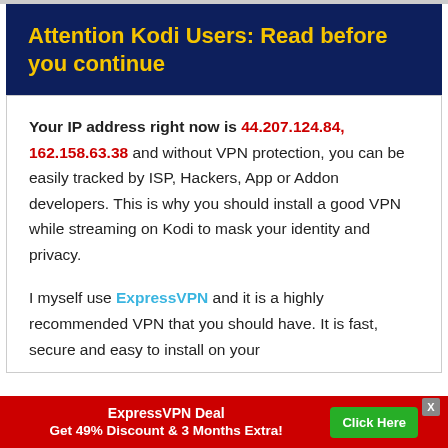Attention Kodi Users: Read before you continue
Your IP address right now is 44.207.124.84, 162.158.63.38 and without VPN protection, you can be easily tracked by ISP, Hackers, App or Addon developers. This is why you should install a good VPN while streaming on Kodi to mask your identity and privacy.
I myself use ExpressVPN and it is a highly recommended VPN that you should have. It is fast, secure and easy to install on your
ExpressVPN Deal Get 49% Discount & 3 Months Extra! Click Here X